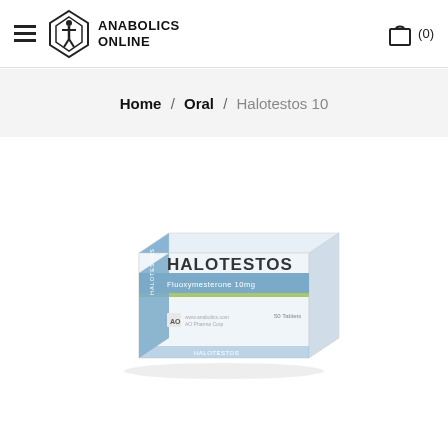ANABOLICS ONLINE — Navigation header with hamburger menu and cart
Home / Oral / Halotestos 10
[Figure (photo): Product box of Halotestos (Fluoxymesterone 10mg) tablets, light blue and white pharmaceutical packaging with 'HALOTESTOS' printed on front, showing box angled in 3D perspective]